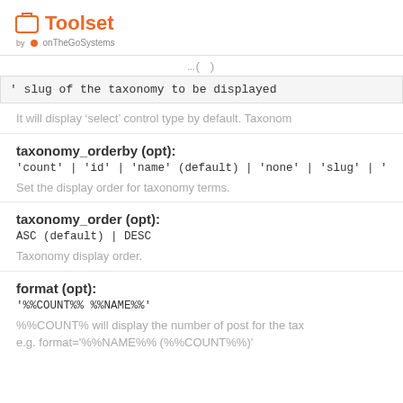Toolset by onTheGoSystems
' slug of the taxonomy to be displayed
It will display 'select' control type by default. Taxonom
taxonomy_orderby (opt):
'count' | 'id' | 'name' (default) | 'none' | 'slug' | 'term_gr
Set the display order for taxonomy terms.
taxonomy_order (opt):
ASC (default) | DESC
Taxonomy display order.
format (opt):
'%%COUNT%% %%NAME%%'
%%COUNT% will display the number of post for the tax e.g. format='%%NAME%% (%%COUNT%%)'